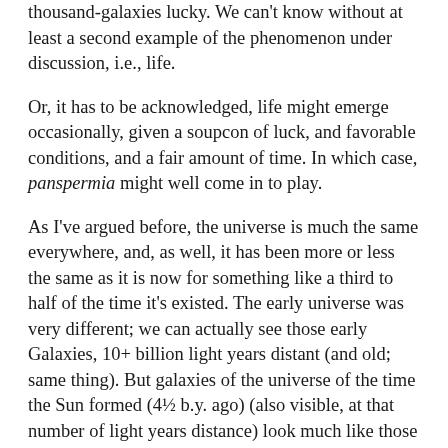thousand-galaxies lucky. We can't know without at least a second example of the phenomenon under discussion, i.e., life.
Or, it has to be acknowledged, life might emerge occasionally, given a soupcon of luck, and favorable conditions, and a fair amount of time. In which case, panspermia might well come in to play.
As I've argued before, the universe is much the same everywhere, and, as well, it has been more or less the same as it is now for something like a third to half of the time it's existed. The early universe was very different; we can actually see those early Galaxies, 10+ billion light years distant (and old; same thing). But galaxies of the universe of the time the Sun formed (4½ b.y. ago) (also visible, at that number of light years distance) look much like those of the current time. A lot of disk population stars not unlike the Sun, some already billions of years old, and no doubt many with planets, some not so different from the Earth